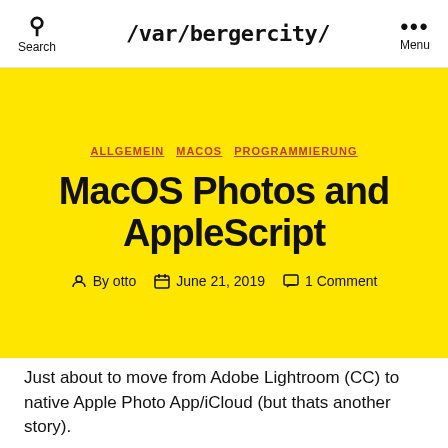/var/bergercity/
ALLGEMEIN  MACOS  PROGRAMMIERUNG
MacOS Photos and AppleScript
By otto  June 21, 2019  1 Comment
Just about to move from Adobe Lightroom (CC) to native Apple Photo App/iCloud (but thats another story).